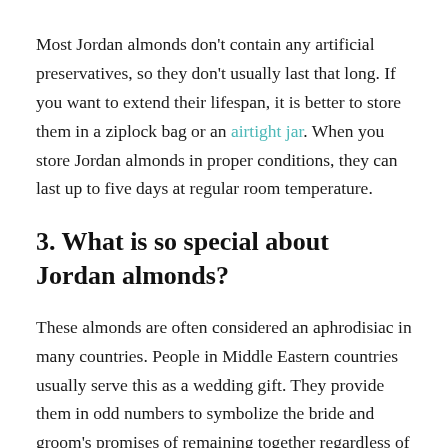Most Jordan almonds don't contain any artificial preservatives, so they don't usually last that long. If you want to extend their lifespan, it is better to store them in a ziplock bag or an airtight jar. When you store Jordan almonds in proper conditions, they can last up to five days at regular room temperature.
3. What is so special about Jordan almonds?
These almonds are often considered an aphrodisiac in many countries. People in Middle Eastern countries usually serve this as a wedding gift. They provide them in odd numbers to symbolize the bride and groom's promises of remaining together regardless of their conditions. Each person gets 5